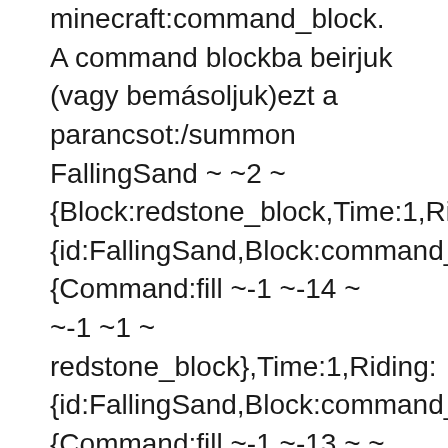minecraft:command_block. A command blockba beirjuk (vagy bemásoljuk)ezt a parancsot:/summon FallingSand ~ ~2 ~ {Block:redstone_block,Time:1,Riding:{id:FallingSand,Block:command_block,TileE{Command:fill ~-1 ~-14 ~ ~-1 ~1 ~ redstone_block},Time:1,Riding:{id:FallingSand,Block:command_block,TileE{Command:fill ~-1 ~-13 ~ ~ ~2 ~ air},Time:1,Riding:{id:FallingSand,Block:command_block,TileE{Command:/summon FallingSand ~-1 ~-4 ~15 {Block:iron_block,Time:1,Riding:{id:FallingSand,Block:command_block,TileE